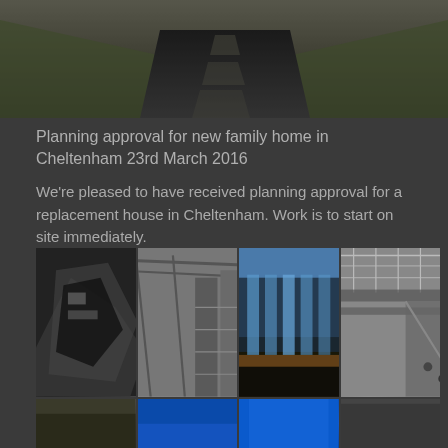[Figure (photo): Aerial/perspective view of a road or path with grass verges, dark tarmac surface, architectural or landscape photography]
Planning approval for new family home in Cheltenham 23rd March 2016
We're pleased to have received planning approval for a replacement house in Cheltenham. Work is to start on site immediately.
[Figure (photo): Grid of four architectural photographs showing: (1) black and white angular modern building exterior, (2) black and white interior of a library or public building with bookshelves, (3) color photo of a modern building facade with blue glazing and vertical elements at dusk, (4) black and white interior of a transit station or public space with escalators and glass roof. Below these are partial views of additional architectural images.]